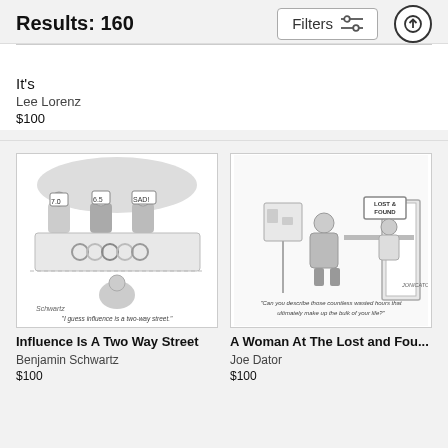Results: 160
It's
Lee Lorenz
$100
[Figure (illustration): New Yorker cartoon showing Olympic scoring judges holding up score placards reading 7.0, 6.5, and SAD!, with Olympic rings on table and a figure in front. Caption: 'I guess influence is a two-way street.']
Influence Is A Two Way Street
Benjamin Schwartz
$100
[Figure (illustration): New Yorker cartoon showing a person at a Lost & Found counter speaking with an attendant. Caption: 'Can you describe those countless wasted hours that ultimately make up the bulk of your life?']
A Woman At The Lost and Fou...
Joe Dator
$100